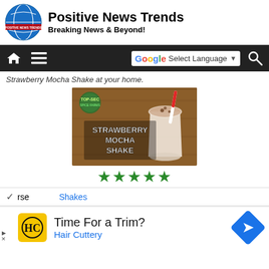Positive News Trends — Breaking News & Beyond!
Strawberry Mocha Shake at your home.
[Figure (photo): Strawberry Mocha Shake promotional image with a milkshake glass, red-white striped straw, and text reading STRAWBERRY MOCHA SHAKE on a wooden background with a logo badge.]
★★★★★
UrseShakes
Time For a Trim? Hair Cuttery